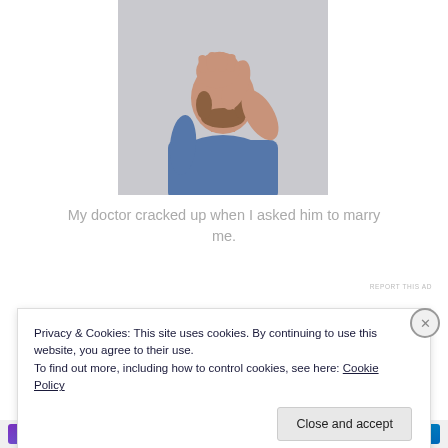[Figure (photo): Man in blue t-shirt covering his face with his hand in a facepalm gesture, against a light grey background]
My doctor cracked up when I asked him to marry me.
REPORT THIS AD
Privacy & Cookies: This site uses cookies. By continuing to use this website, you agree to their use.
To find out more, including how to control cookies, see here: Cookie Policy
Close and accept